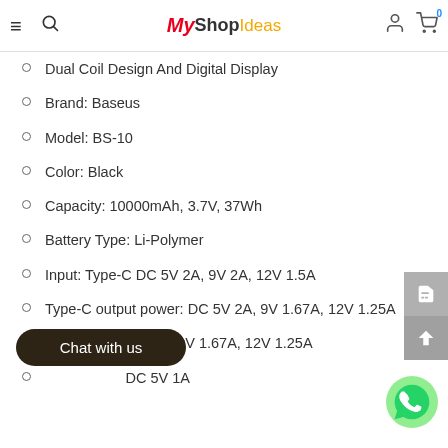My Shop Ideas
Dual Coil Design And Digital Display
Brand: Baseus
Model: BS-10
Color: Black
Capacity: 10000mAh, 3.7V, 37Wh
Battery Type: Li-Polymer
Input: Type-C DC 5V 2A, 9V 2A, 12V 1.5A
Type-C output power: DC 5V 2A, 9V 1.67A, 12V 1.25A
[partially obscured] 5V 2A, 9V 1.67A, 12V 1.25A
[partially obscured] DC 5V 1A